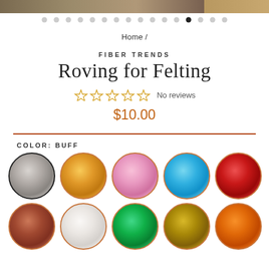[Figure (photo): Top cropped product image bar showing fiber/roving texture]
Home /
FIBER TRENDS
Roving for Felting
☆☆☆☆☆ No reviews
$10.00
COLOR: BUFF
[Figure (photo): Color swatches: row 1: grey (selected), amber, pink, blue, red; row 2: brown, white, green, olive, orange]